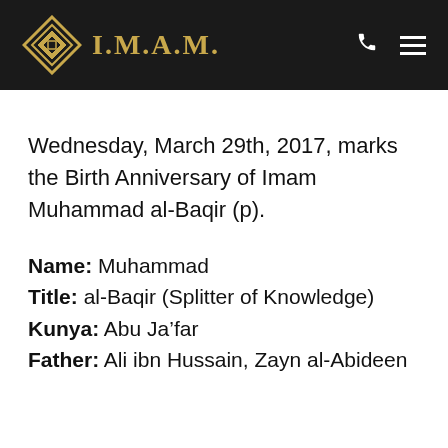I.M.A.M.
Wednesday, March 29th, 2017, marks the Birth Anniversary of Imam Muhammad al-Baqir (p).
Name: Muhammad
Title: al-Baqir (Splitter of Knowledge)
Kunya: Abu Ja’far
Father: Ali ibn Hussain, Zayn al-Abideen